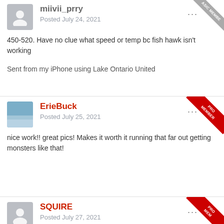miivii_prry
Posted July 24, 2021
450-520. Have no clue what speed or temp bc fish hawk isn't working
Sent from my iPhone using Lake Ontario United
ErieBuck
Posted July 25, 2021
nice work!!  great pics!  Makes it worth it running that far out getting monsters like that!
SQUIRE
Posted July 27, 2021